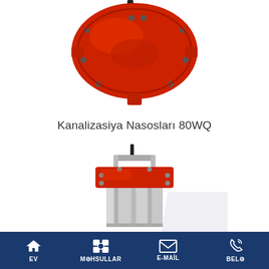[Figure (photo): Red industrial sewage pump (top portion), circular body with bolted flange and outlet nozzle at bottom, viewed from above on white background]
Kanalizasiya Nasosları 80WQ
[Figure (photo): Red and stainless steel submersible sewage pump (80WQ), with handle bracket on top, red cast iron upper section and cylindrical stainless steel motor housing below, on white background]
EV   MƏHSULLAR   E-MAİL   BELƏ